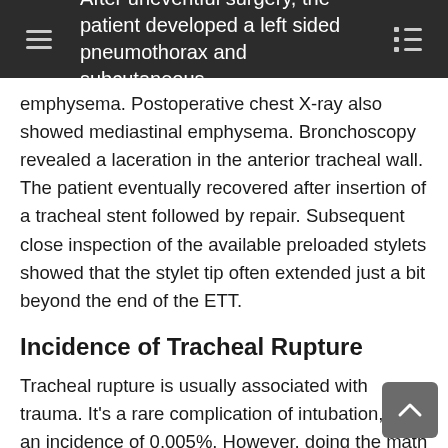After uneventful surgery, the patient developed a left sided pneumothorax and subcutaneous emphysema. Postoperative chest X-ray also showed mediastinal emphysema. Bronchoscopy revealed a laceration in the anterior tracheal wall. The patient eventually recovered after insertion of a tracheal stent followed by repair. Subsequent close inspection of the available preloaded stylets showed that the stylet tip often extended just a bit beyond the end of the ETT.
Incidence of Tracheal Rupture
Tracheal rupture is usually associated with trauma. It's a rare complication of intubation, with an incidence of 0.005%. However, doing the math based on an estimated 50 million worldwide intubations would equate to 250 intubation-related tracheal ruptures worldwide per year.
Stylets tend to injure the anterior, cartilaginous wall of the trachea, because the stylet is typically